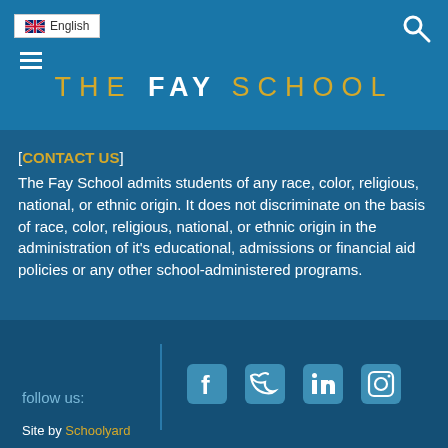THE FAY SCHOOL
[CONTACT US]
The Fay School admits students of any race, color, religious, national, or ethnic origin. It does not discriminate on the basis of race, color, religious, national, or ethnic origin in the administration of it's educational, admissions or financial aid policies or any other school-administered programs.
follow us:  [social icons: Facebook, Twitter, LinkedIn, Instagram]  Site by Schoolyard